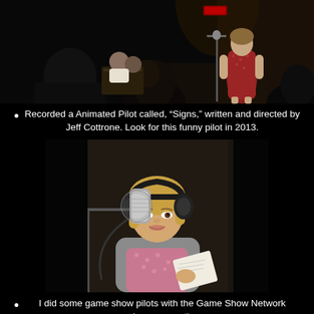[Figure (photo): Dark stage performance photo showing a woman in a red patterned dress standing at a microphone on stage, with audience members visible in the foreground silhouetted against the dark background.]
Recorded a Animated Pilot called, “Signs,” written and directed by Jeff Cottrone. Look for this funny pilot in 2013.
[Figure (photo): Woman with blonde hair wearing headphones sitting in front of a professional studio microphone, holding papers, smiling at the camera. Recording studio setting.]
I did some game show pilots with the Game Show Network (super secret).
Joined the Improv Troupe, Auntie Anne’s School of Hard Knocks.